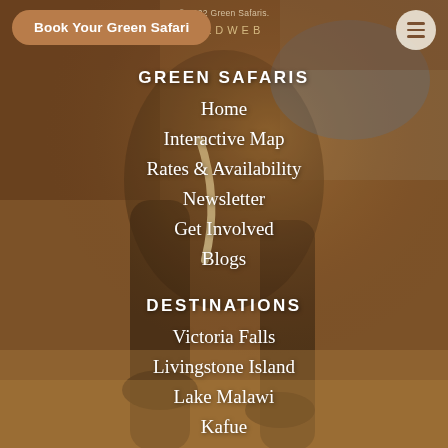[Figure (photo): Background photo of an elephant in a safari landscape with warm golden-brown tones. The elephant's legs, tusks, and body are visible against a dry grass background.]
© 2022 Green Safaris. WILDWEB
Book Your Green Safari
GREEN SAFARIS
Home
Interactive Map
Rates & Availability
Newsletter
Get Involved
Blogs
DESTINATIONS
Victoria Falls
Livingstone Island
Lake Malawi
Kafue